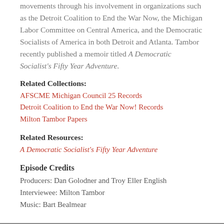movements through his involvement in organizations such as the Detroit Coalition to End the War Now, the Michigan Labor Committee on Central America, and the Democratic Socialists of America in both Detroit and Atlanta. Tambor recently published a memoir titled A Democratic Socialist's Fifty Year Adventure.
Related Collections:
AFSCME Michigan Council 25 Records
Detroit Coalition to End the War Now! Records
Milton Tambor Papers
Related Resources:
A Democratic Socialist's Fifty Year Adventure
Episode Credits
Producers: Dan Golodner and Troy Eller English
Interviewee: Milton Tambor
Music: Bart Bealmear